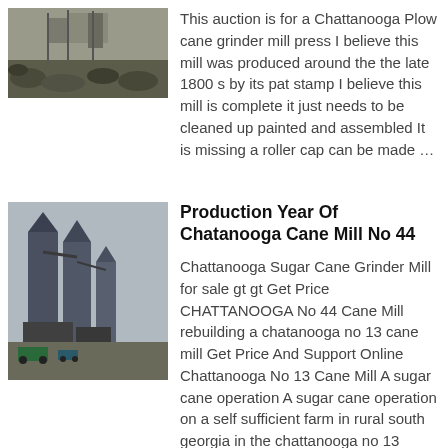[Figure (photo): Outdoor photo showing gravel or rocks on the ground, partial view of machinery or equipment]
This auction is for a Chattanooga Plow cane grinder mill press I believe this mill was produced around the the late 1800 s by its pat stamp I believe this mill is complete it just needs to be cleaned up painted and assembled It is missing a roller cap can be made …
[Figure (photo): Industrial facility with tall silos and processing equipment, viewed from outside]
Production Year Of Chatanooga Cane Mill No 44
Chattanooga Sugar Cane Grinder Mill for sale gt gt Get Price CHATTANOOGA No 44 Cane Mill rebuilding a chatanooga no 13 cane mill Get Price And Support Online Chattanooga No 13 Cane Mill A sugar cane operation A sugar cane operation on a self sufficient farm in rural south georgia in the chattanooga no 13 improved mill chattanooga Chattanooga Sorghum Mill chattanooga sorghum mill for